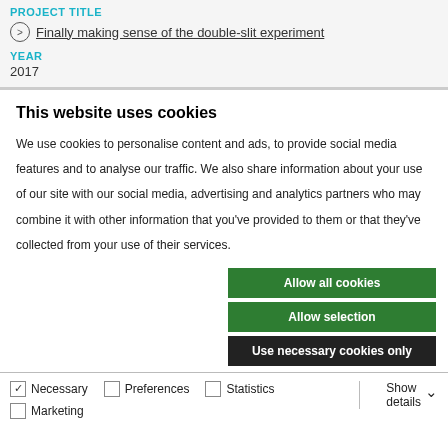PROJECT TITLE
Finally making sense of the double-slit experiment
YEAR
2017
This website uses cookies
We use cookies to personalise content and ads, to provide social media features and to analyse our traffic. We also share information about your use of our site with our social media, advertising and analytics partners who may combine it with other information that you've provided to them or that they've collected from your use of their services.
Allow all cookies
Allow selection
Use necessary cookies only
Necessary  Preferences  Statistics  Marketing  Show details